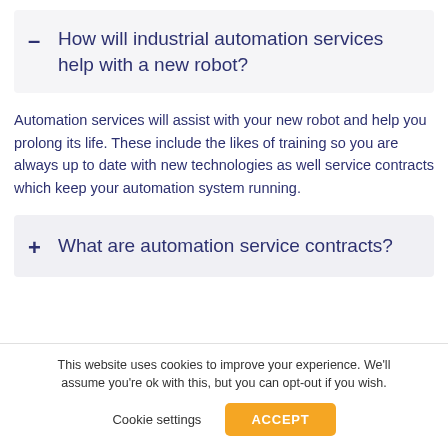How will industrial automation services help with a new robot?
Automation services will assist with your new robot and help you prolong its life. These include the likes of training so you are always up to date with new technologies as well service contracts which keep your automation system running.
What are automation service contracts?
This website uses cookies to improve your experience. We'll assume you're ok with this, but you can opt-out if you wish.